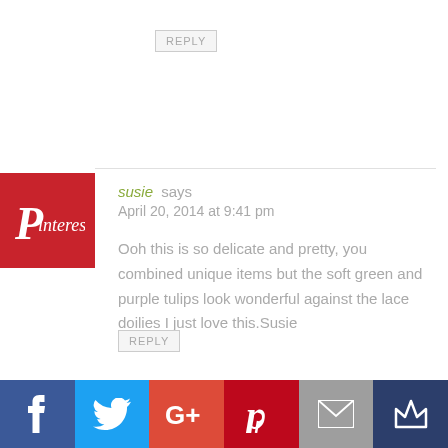REPLY
[Figure (logo): Pinterest badge - red square with Pinterest script logo in white]
susie says
April 20, 2014 at 9:41 pm
Ooh this is so delicate and pretty, you combined unique items but the soft green and purple tulips look wonderful against the lace doilies I just love this.Susie
REPLY
[Figure (infographic): Social sharing bar with Facebook (blue), Twitter (light blue), Google+ (red-orange), Pinterest (red), Email (grey), and Crown/bookmark (dark blue) icons]